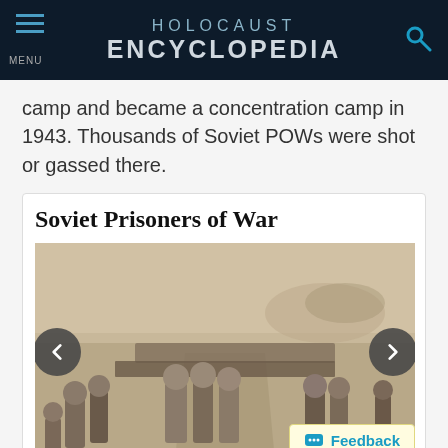HOLOCAUST ENCYCLOPEDIA
camp and became a concentration camp in 1943. Thousands of Soviet POWs were shot or gassed there.
Soviet Prisoners of War
[Figure (photo): Black and white photograph showing a large column of Soviet prisoners of war marching across an open field, guarded by soldiers. The prisoners are walking in rows stretching far into the distance.]
Feedback